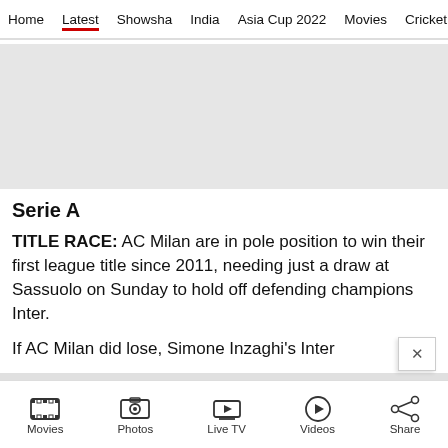Home | Latest | Showsha | India | Asia Cup 2022 | Movies | Cricket
[Figure (other): Gray advertisement placeholder banner]
Serie A
TITLE RACE: AC Milan are in pole position to win their first league title since 2011, needing just a draw at Sassuolo on Sunday to hold off defending champions Inter.
If AC Milan did lose, Simone Inzaghi's Inter
Movies | Photos | Live TV | Videos | Share